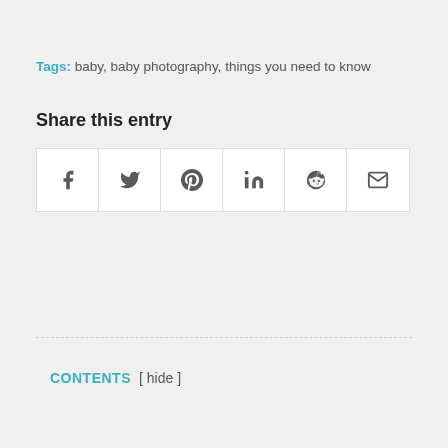Tags: baby, baby photography, things you need to know
Share this entry
[Figure (other): Social sharing icons row: Facebook, Twitter, Pinterest, LinkedIn, Reddit, Email]
CONTENTS [ hide ]